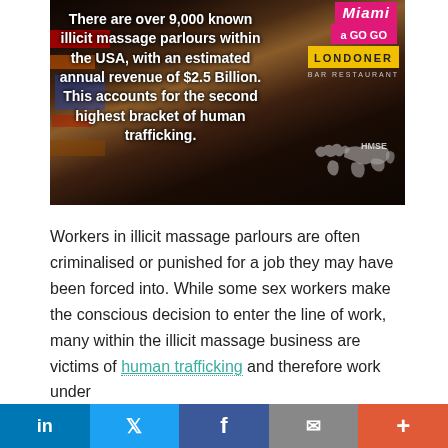[Figure (photo): Street scene with illuminated signs (Miami a Go Go, Londoner Bar Restaurant, and others) overlaid with white bold text about illicit massage parlours and human trafficking statistics, and a world map silhouette in the lower right.]
Workers in illicit massage parlours are often criminalised or punished for a job they may have been forced into. While some sex workers make the conscious decision to enter the line of work, many within the illicit massage business are victims of human trafficking and therefore work under conditions of force, coercion, fraud and deceit. Due to